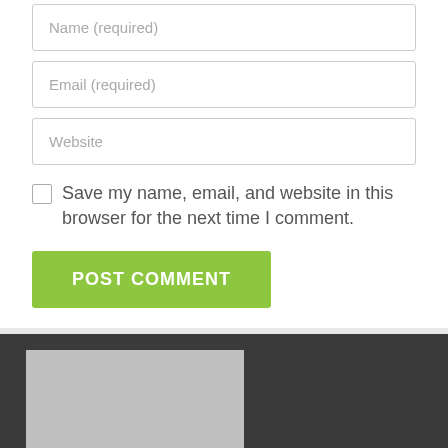Name (required)
Email (required)
Website
Save my name, email, and website in this browser for the next time I comment.
POST COMMENT
[Figure (other): Grey placeholder image box in dark footer area]